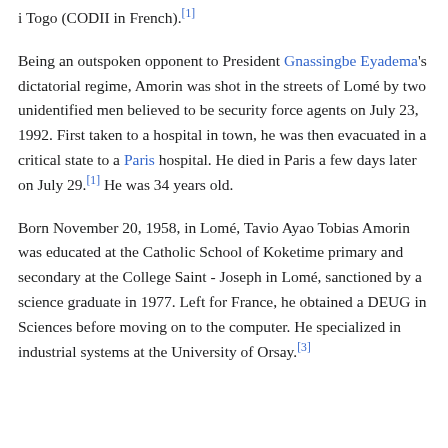i Togo (CODII in French).[1]
Being an outspoken opponent to President Gnassingbe Eyadema's dictatorial regime, Amorin was shot in the streets of Lomé by two unidentified men believed to be security force agents on July 23, 1992. First taken to a hospital in town, he was then evacuated in a critical state to a Paris hospital. He died in Paris a few days later on July 29.[1] He was 34 years old.
Born November 20, 1958, in Lomé, Tavio Ayao Tobias Amorin was educated at the Catholic School of Koketime primary and secondary at the College Saint - Joseph in Lomé, sanctioned by a science graduate in 1977. Left for France, he obtained a DEUG in Sciences before moving on to the computer. He specialized in industrial systems at the University of Orsay.[3]